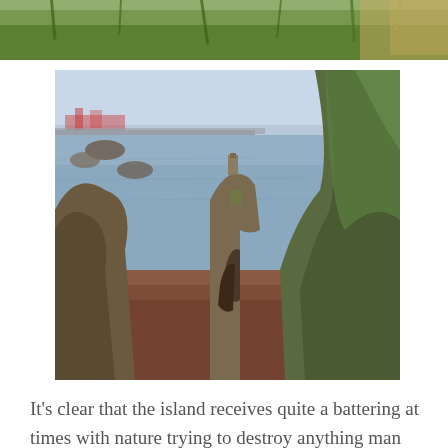[Figure (photo): Top portion of a landscape photo showing green grass and vegetation at the top edge of the page]
[Figure (photo): Coastal landscape photo showing rocky sea stacks and rock formations in the foreground with calm water, a harbour wall, and industrial buildings visible in the far distance under a pale blue sky]
It’s clear that the island receives quite a battering at times with nature trying to destroy anything man made that lies in its